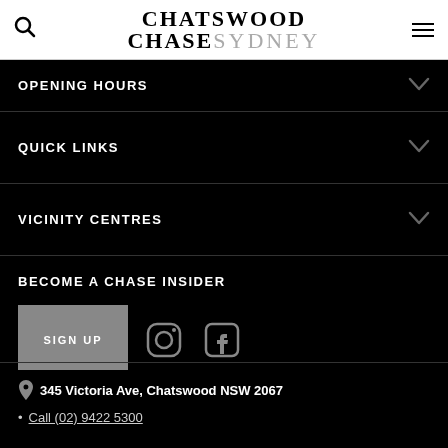Chatswood Chase Sydney
OPENING HOURS
QUICK LINKS
VICINITY CENTRES
BECOME A CHASE INSIDER
SIGN UP
345 Victoria Ave, Chatswood NSW 2067
Call (02) 9422 5300